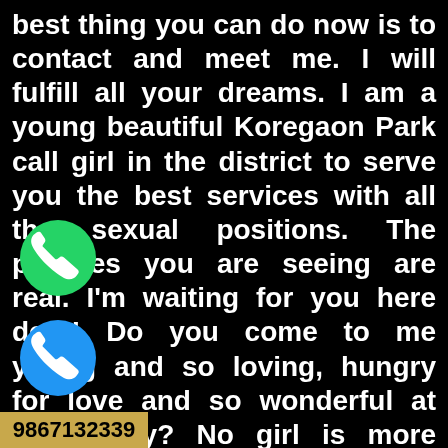best thing you can do now is to contact and meet me. I will fulfill all your dreams. I am a young beautiful Koregaon Park call girl in the district to serve you the best services with all the sexual positions. The pictures you are seeing are real. I'm waiting for you here dear! Do you come to me young and so loving, hungry for love and so wonderful at giving joy? No girl is more luscious than a one-eyed blonde. A very [icon] sex lover brings passion and energy with mature women to whatever he does. Born to be [icon]ined, and she does what she does best to get p[icon]alized celebrity web series call girls in Koregaon Park from big movies she will make sure that the time spent in her company is always fun! He
[Figure (illustration): WhatsApp green circle logo icon]
[Figure (illustration): Blue circle phone call icon]
9867132339